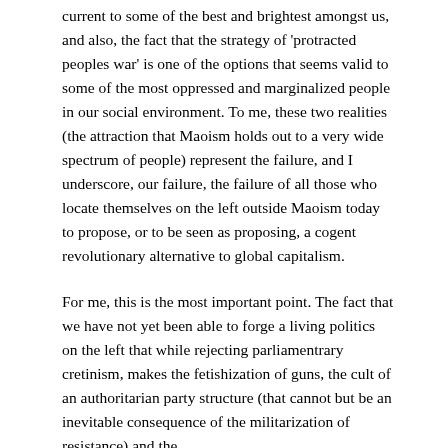current to some of the best and brightest amongst us, and also, the fact that the strategy of 'protracted peoples war' is one of the options that seems valid to some of the most oppressed and marginalized people in our social environment. To me, these two realities (the attraction that Maoism holds out to a very wide spectrum of people) represent the failure, and I underscore, our failure, the failure of all those who locate themselves on the left outside Maoism today to propose, or to be seen as proposing, a cogent revolutionary alternative to global capitalism.
For me, this is the most important point. The fact that we have not yet been able to forge a living politics on the left that while rejecting parliamentrary cretinism, makes the fetishization of guns, the cult of an authoritarian party structure (that cannot but be an inevitable consequence of the militarization of resistance) and the